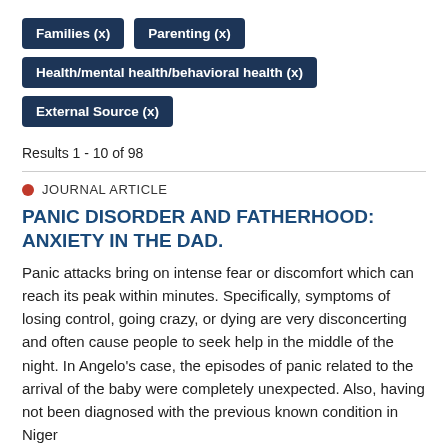Families (x)
Parenting (x)
Health/mental health/behavioral health (x)
External Source (x)
Results 1 - 10 of 98
JOURNAL ARTICLE
PANIC DISORDER AND FATHERHOOD: ANXIETY IN THE DAD.
Panic attacks bring on intense fear or discomfort which can reach its peak within minutes. Specifically, symptoms of losing control, going crazy, or dying are very disconcerting and often cause people to seek help in the middle of the night. In Angelo's case, the episodes of panic related to the arrival of the baby were completely unexpected. Also, having not been diagnosed with the previous known condition in Niger...